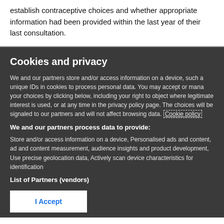establish contraceptive choices and whether appropriate information had been provided within the last year of their last consultation.
Cookies and privacy
We and our partners store and/or access information on a device, such as unique IDs in cookies to process personal data. You may accept or manage your choices by clicking below, including your right to object where legitimate interest is used, or at any time in the privacy policy page. These choices will be signaled to our partners and will not affect browsing data. Cookie policy
We and our partners process data to provide:
Store and/or access information on a device, Personalised ads and content, ad and content measurement, audience insights and product development, Use precise geolocation data, Actively scan device characteristics for identification
List of Partners (vendors)
I Accept